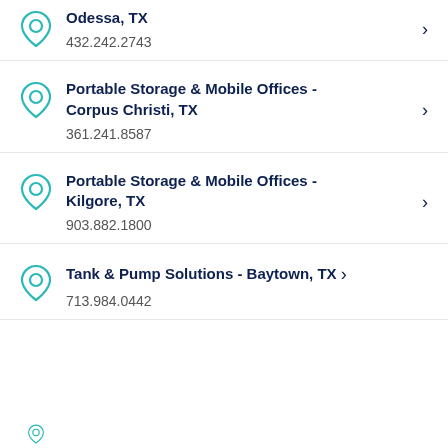Portable Storage & Mobile Offices - Odessa, TX
432.242.2743
Portable Storage & Mobile Offices - Corpus Christi, TX
361.241.8587
Portable Storage & Mobile Offices - Kilgore, TX
903.882.1800
Tank & Pump Solutions - Baytown, TX
713.984.0442